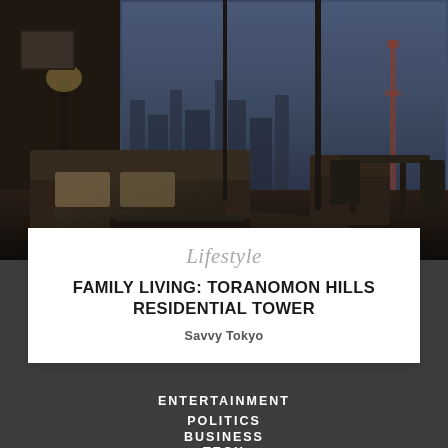[Figure (photo): Interior photo of a luxury high-rise apartment living room with dark furniture, sofas, and floor-to-ceiling windows showing a city skyline at dusk/night]
Lifestyle
FAMILY LIVING: TORANOMON HILLS RESIDENTIAL TOWER
Savvy Tokyo
ENTERTAINMENT
POLITICS
BUSINESS
TECH